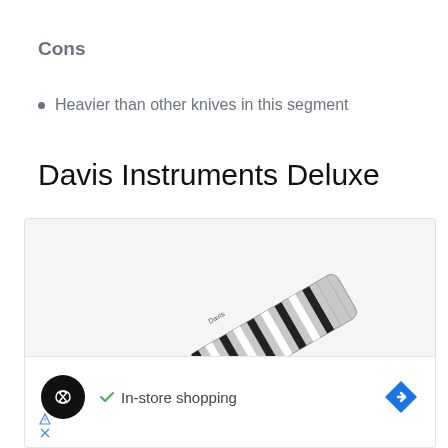Cons
Heavier than other knives in this segment
Davis Instruments Deluxe
[Figure (photo): A folding pocket knife (Davis Instruments Deluxe) shown partially open, with a steel blade and black/white striped handle, on a light gray background.]
[Figure (infographic): Advertisement bar showing a black circular logo with infinity/loop icon, a green checkmark with 'In-store shopping' text, and a blue diamond-shaped arrow icon. Below are small triangle and X icons in blue.]